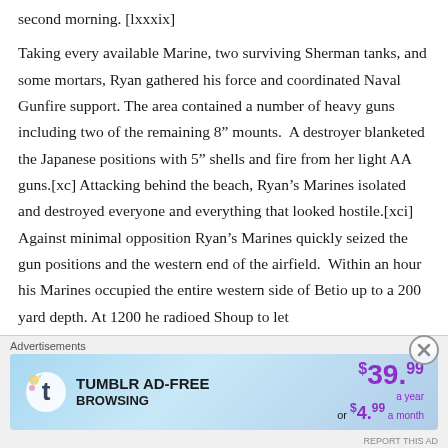second morning. [lxxxix]
Taking every available Marine, two surviving Sherman tanks, and some mortars, Ryan gathered his force and coordinated Naval Gunfire support. The area contained a number of heavy guns including two of the remaining 8” mounts. A destroyer blanketed the Japanese positions with 5” shells and fire from her light AA guns.[xc] Attacking behind the beach, Ryan’s Marines isolated and destroyed everyone and everything that looked hostile.[xci] Against minimal opposition Ryan’s Marines quickly seized the gun positions and the western end of the airfield. Within an hour his Marines occupied the entire western side of Betio up to a 200 yard depth. At 1200 he radioed Shoup to let
[Figure (screenshot): Tumblr AD-FREE BROWSING advertisement banner showing $39.99 a year or $4.99 a month pricing with Tumblr logo and colorful background]